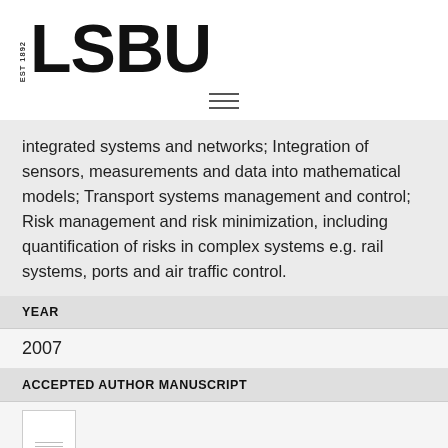[Figure (logo): LSBU logo with EST 1892 text and bold LSBU wordmark]
[Figure (other): Hamburger menu icon with three horizontal lines]
integrated systems and networks; Integration of sensors, measurements and data into mathematical models; Transport systems management and control; Risk management and risk minimization, including quantification of risks in complex systems e.g. rail systems, ports and air traffic control.
| YEAR |
| --- |
| 2007 |
| ACCEPTED AUTHOR MANUSCRIPT |
| --- |
| [manuscript thumbnail image] |